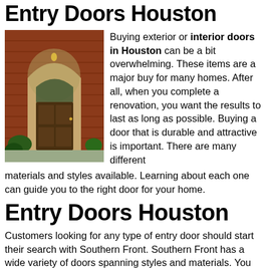Entry Doors Houston
[Figure (photo): Photograph of a brick home with an arched entryway and a dark wood front door with glass panels, brick pathway leading to door, landscaping visible]
Buying exterior or interior doors in Houston can be a bit overwhelming. These items are a major buy for many homes. After all, when you complete a renovation, you want the results to last as long as possible. Buying a door that is durable and attractive is important. There are many different materials and styles available. Learning about each one can guide you to the right door for your home.
Entry Doors Houston
Customers looking for any type of entry door should start their search with Southern Front. Southern Front has a wide variety of doors spanning styles and materials. You can find